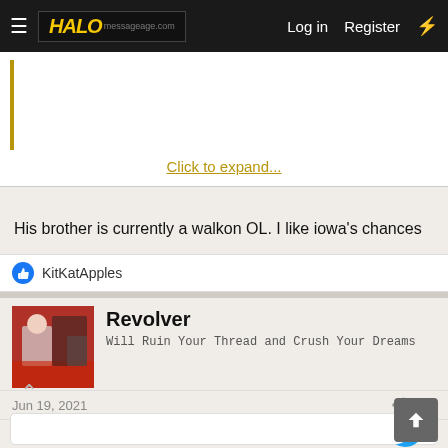HALO messageage.com  Log in  Register
[Figure (other): Collapsed quoted post with a gold left border and 'Click to expand...' link]
His brother is currently a walkon OL. I like iowa's chances
👍 KitKatApples
Revolver
Will Ruin Your Thread and Crush Your Dreams
Jun 19, 2021  #4
[Figure (screenshot): Embedded tweet with Twitter bird icon visible in top right corner]